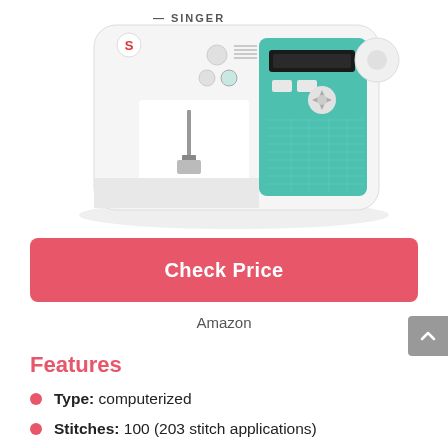[Figure (photo): Singer sewing machine (white body with teal/turquoise panel and digital display) photographed on white background]
Check Price
Amazon
Features
Type: computerized
Stitches: 100 (203 stitch applications)
Buttonholes: one step